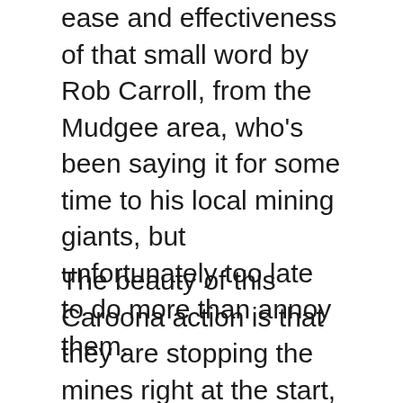ease and effectiveness of that small word by Rob Carroll, from the Mudgee area, who's been saying it for some time to his local mining giants, but unfortunately too late to do more than annoy them.
The beauty of this Caroona action is that they are stopping the mines right at the start, saying they want an independent water study before any exploration is begun.
Of course BHP would be allowed to mine it after exploration, regardless of the value of the land and aquifers, under current government ‘planning’.
The token study BHP would do then would naturally conclude there'd be no adverse